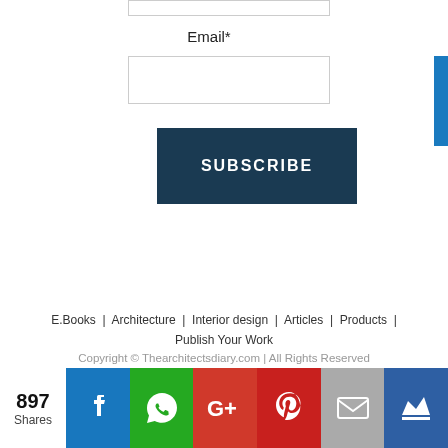Email*
[Figure (screenshot): Email input form field with a subscribe button on a white background]
E.Books | Architecture | Interior design | Articles | Products | Publish Your Work
Copyright © Thearchitectsdiary.com | All Rights Reserved
[Figure (infographic): Social share bar with 897 Shares count and icons for Facebook, WhatsApp, Google+, Pinterest, Email, and a crown/bookmark icon]